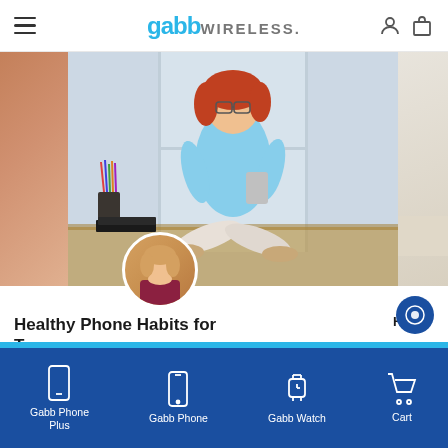gabb WIRELESS.
[Figure (screenshot): Website screenshot of Gabb Wireless showing a hero image of a red-haired girl in glasses sitting cross-legged using a phone, with article preview cards below]
Healthy Phone Habits for Tee...
Eve... with the same questions: When should
[Figure (infographic): Toast notification popup reading 'Content Sent Directly To you' with envelope icon and close button]
Gabb Phone Plus | Gabb Phone | Gabb Watch | Cart